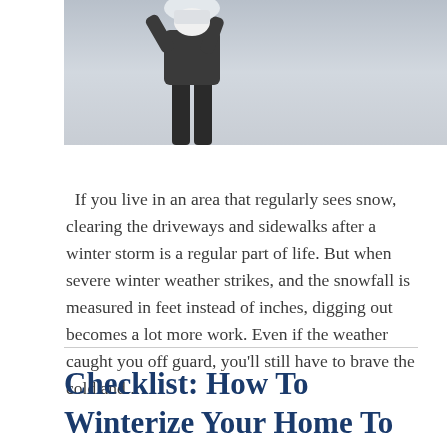[Figure (photo): Black and white photo of a person shoveling snow, lower body visible, holding a snowball or shovelful of snow overhead, snowy winter scene background]
If you live in an area that regularly sees snow, clearing the driveways and sidewalks after a winter storm is a regular part of life. But when severe winter weather strikes, and the snowfall is measured in feet instead of inches, digging out becomes a lot more work. Even if the weather caught you off guard, you'll still have to brave the cold and...
Checklist: How To Winterize Your Home To Save Money and Energy